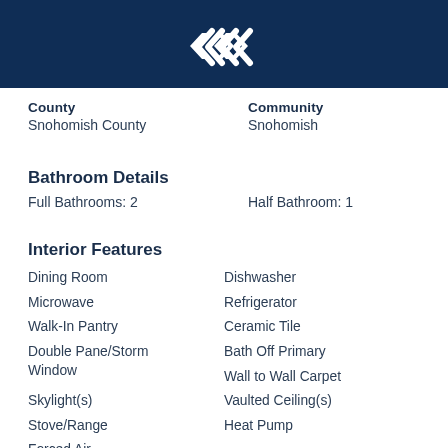Logo / Header bar
County
Snohomish County
Community
Snohomish
Bathroom Details
Full Bathrooms: 2
Half Bathroom: 1
Interior Features
Dining Room
Dishwasher
Microwave
Refrigerator
Walk-In Pantry
Ceramic Tile
Double Pane/Storm Window
Bath Off Primary
Wall to Wall Carpet
Skylight(s)
Vaulted Ceiling(s)
Stove/Range
Heat Pump
Forced Air